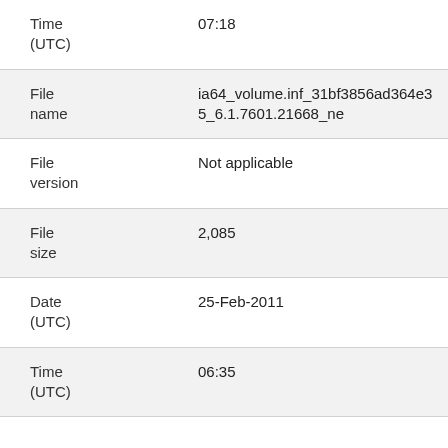| Field | Value |
| --- | --- |
| Time (UTC) | 07:18 |
| File name | ia64_volume.inf_31bf3856ad364e35_6.1.7601.21668_ne |
| File version | Not applicable |
| File size | 2,085 |
| Date (UTC) | 25-Feb-2011 |
| Time (UTC) | 06:35 |